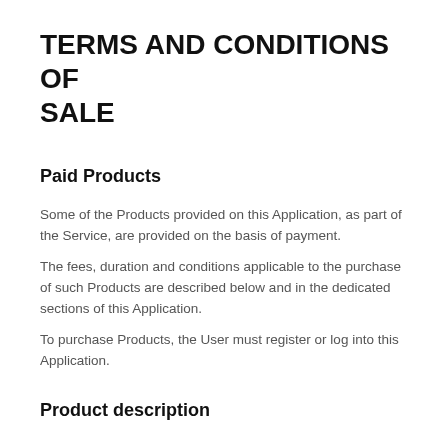TERMS AND CONDITIONS OF SALE
Paid Products
Some of the Products provided on this Application, as part of the Service, are provided on the basis of payment.
The fees, duration and conditions applicable to the purchase of such Products are described below and in the dedicated sections of this Application.
To purchase Products, the User must register or log into this Application.
Product description